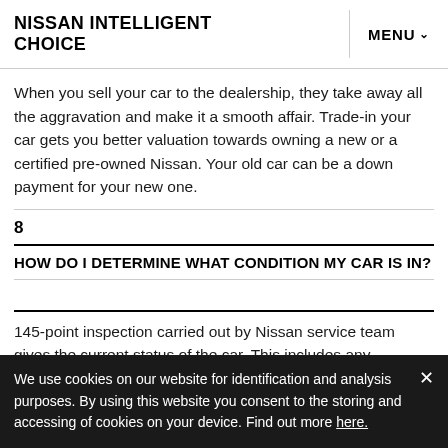NISSAN INTELLIGENT CHOICE
When you sell your car to the dealership, they take away all the aggravation and make it a smooth affair. Trade-in your car gets you better valuation towards owning a new or a certified pre-owned Nissan. Your old car can be a down payment for your new one.
8
HOW DO I DETERMINE WHAT CONDITION MY CAR IS IN?
145-point inspection carried out by Nissan service team gives the current status of the car. This includes any reconditioning work/repair that might be required
We use cookies on our website for identification and analysis purposes. By using this website you consent to the storing and accessing of cookies on your device. Find out more here.